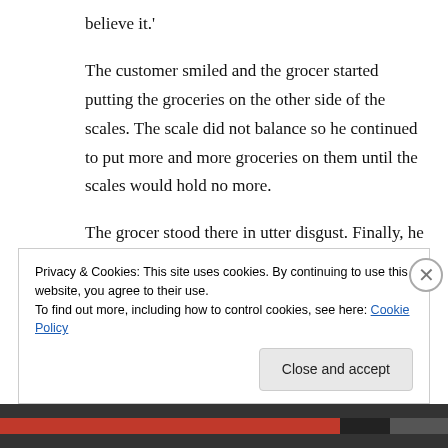believe it.'
The customer smiled and the grocer started putting the groceries on the other side of the scales. The scale did not balance so he continued to put more and more groceries on them until the scales would hold no more.
The grocer stood there in utter disgust. Finally, he grabbed the piece of paper from the scales and looked at it with greater amazement.
Privacy & Cookies: This site uses cookies. By continuing to use this website, you agree to their use.
To find out more, including how to control cookies, see here: Cookie Policy
Close and accept